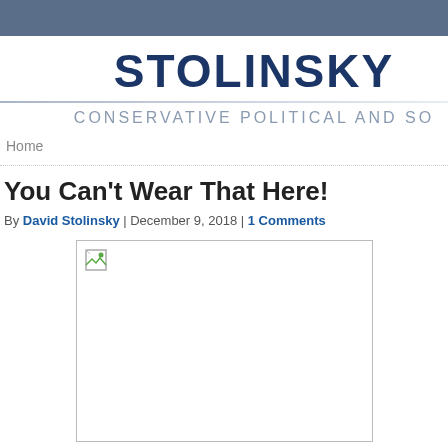STOLINSKY
CONSERVATIVE POLITICAL AND SO
Home
You Can’t Wear That Here!
By David Stolinsky | December 9, 2018 | 1 Comments
[Figure (photo): An image placeholder with a broken image icon, bordered rectangle, no loaded image content visible.]